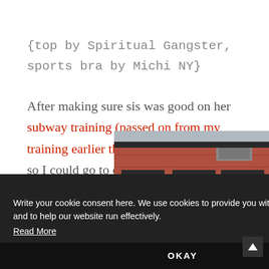{top by Spiritual Gangster, sports bra by Michi NY}
After making sure sis was good on her subway training (passed on from my training earlier this year), we parted ways so I could go to dance class. I had a practice I couldn't miss for an
[Figure (screenshot): Cookie consent overlay banner with dark background showing text: 'Write your cookie consent here. We use cookies to provide you with a great experience and to help our website run effectively. Read More' with an OKAY button below.]
[Figure (photo): Photograph of a red brick apartment building facade showing windows with dark trim, visible in the bottom right of the page.]